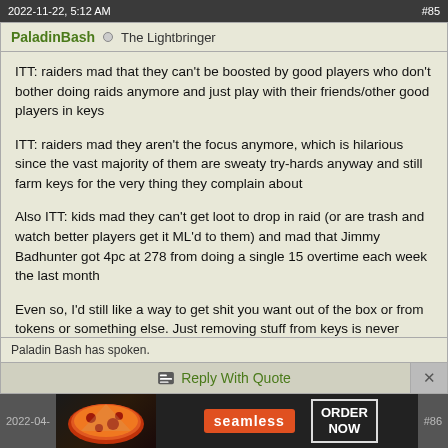#85
PaladinBash  ○  The Lightbringer
ITT: raiders mad that they can't be boosted by good players who don't bother doing raids anymore and just play with their friends/other good players in keys

ITT: raiders mad they aren't the focus anymore, which is hilarious since the vast majority of them are sweaty try-hards anyway and still farm keys for the very thing they complain about

Also ITT: kids mad they can't get loot to drop in raid (or are trash and watch better players get it ML'd to them) and mad that Jimmy Badhunter got 4pc at 278 from doing a single 15 overtime each week the last month

Even so, I'd still like a way to get shit you want out of the box or from tokens or something else. Just removing stuff from keys is never going to happen and is a dumb idea. Raiders are a dying class and it amuses me because the real raiding community that I grew up with is gone and dead and replaced by you sweaters so it amuses me to see you be replaced by someone else.
Paladin Bash has spoken.
Reply With Quote
2022-04-  #86